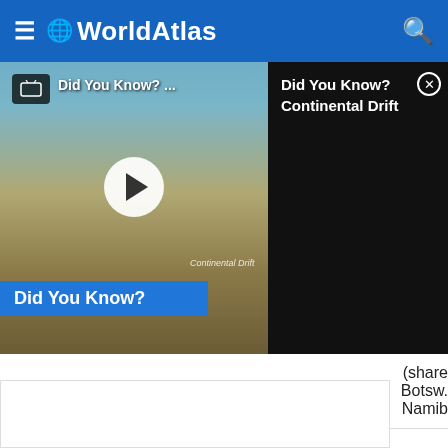≡ 🌐 WorldAtlas 🔍
[Figure (screenshot): Video thumbnail showing 'Did You Know? ...' with play button, landscape background, 'Did You Know?' blue bar, and 'Continental Drift' text panel]
| # | Name | Value |
| --- | --- | --- |
| 5 | Nossob | (share Botsw. Namib |
| 6 | Great Fish | 430 m |
| 7 | Gamtoos | 401 m |
|  |  | 348 m |